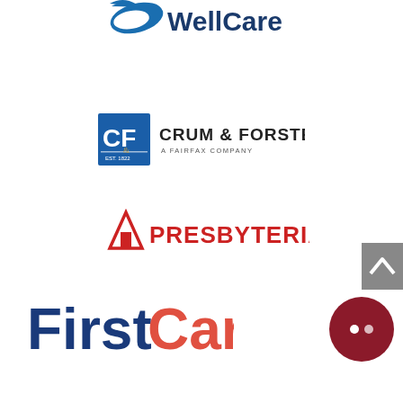[Figure (logo): WellCare logo - blue stylized W with swoosh and 'WellCare' text in dark blue]
[Figure (logo): Crum & Forster logo - Blue square with CF letters, 'CRUM & FORSTER' text, 'A FAIRFAX COMPANY' subtext]
[Figure (logo): Presbyterian healthcare logo - red triangle/building icon with 'PRESBYTERIAN' text in red]
[Figure (logo): FirstCare logo - 'First' in dark blue and 'Care' in red/coral color]
[Figure (other): Dark red/maroon circular chat button icon in bottom right corner]
[Figure (other): Gray scroll-to-top button with upward chevron arrow on right side]